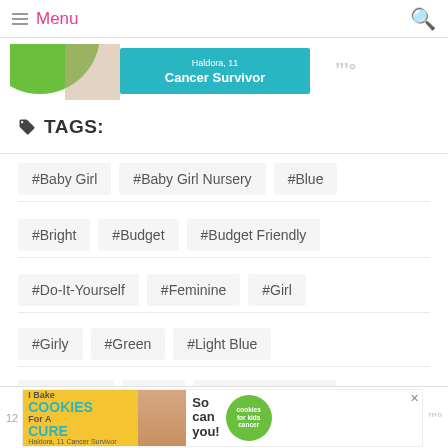Menu
[Figure (infographic): Top advertisement banner showing a green circle and teal box with text 'Haldora, 11 Cancer Survivor']
TAGS:
#Baby Girl
#Baby Girl Nursery
#Blue
#Bright
#Budget
#Budget Friendly
#Do-It-Yourself
#Feminine
#Girl
#Girly
#Green
#Light Blue
#Pale Blue
#Pink
#Robin's Egg Blue
[Figure (infographic): Bottom advertisement banner: 'I Bake COOKIES For A CURE, Haldora, 11 Cancer Survivor, So can you! cookies for kids cancer']